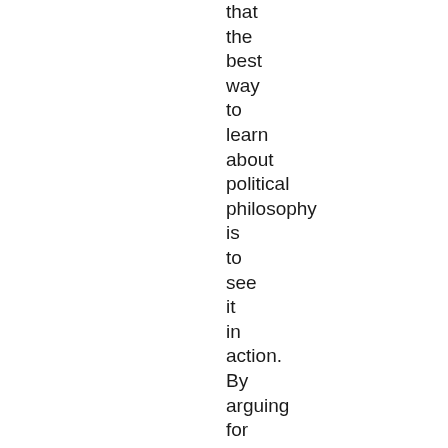that the best way to learn about political philosophy is to see it in action. By arguing for a position in each